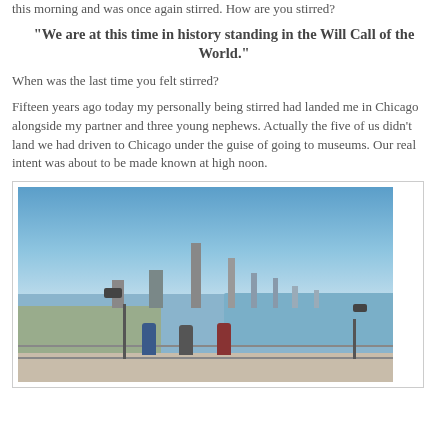this morning and was once again stirred. How are you stirred?
"We are at this time in history standing in the Will Call of the World."
When was the last time you felt stirred?
Fifteen years ago today my personally being stirred had landed me in Chicago alongside my partner and three young nephews. Actually the five of us didn't land we had driven to Chicago under the guise of going to museums. Our real intent was about to be made known at high noon.
[Figure (photo): A group of three children walking on a lakefront path with the Chicago skyline in the background on a clear day.]